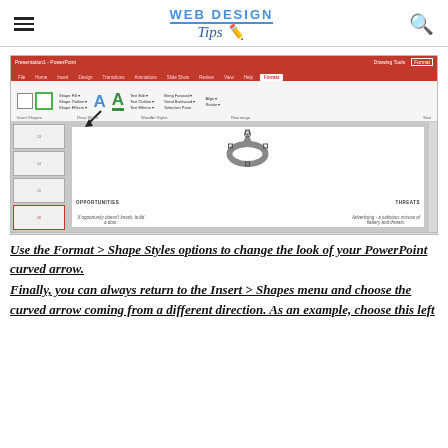WEB DESIGN Tips
[Figure (screenshot): Screenshot of Microsoft PowerPoint showing the Format tab with Drawing Tools ribbon highlighted. The Shape Styles section is visible. A curved arrow shape is selected on a slide showing OPPORTUNITIES and THREATS sections of a SWOT-style diagram. A black arrow points to the Draw Styles area in the ribbon.]
Use the Format > Shape Styles options to change the look of your PowerPoint curved arrow. Finally, you can always return to the Insert > Shapes menu and choose the curved arrow coming from a different direction. As an example, choose this left
Use the Format > Shape Styles options to change the look of your PowerPoint curved arrow.